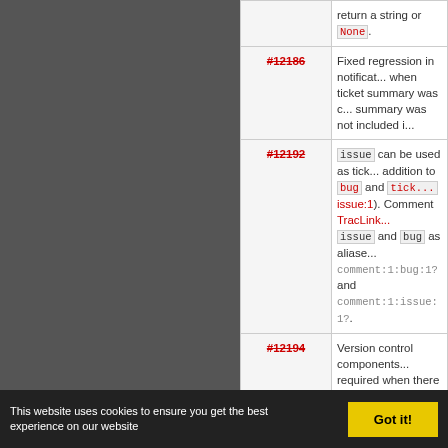| Ticket | Description |
| --- | --- |
| #12186 | Fixed regression in notification emails when ticket summary was changed; summary was not included i... |
| #12192 | issue can be used as tick... in addition to bug and tick... (issue:1). Comment TracLink... issue and bug as aliase... comment:1:bug:1? and comment:1:issue:1?. |
| #12194 | Version control components required when there is a rep... backend. This reverts behav... 1.1.2 ([12820]). |
| #12206 | Notification emails use the a... name when [trac] show... is True. |
| #12220 | Corrected display of UTC ti... format is ISO8601 (regressi... to jQuery UI Timepicker 1.5... |
| #12222 | Fixed incorrect entries in po... |
This website uses cookies to ensure you get the best experience on our website